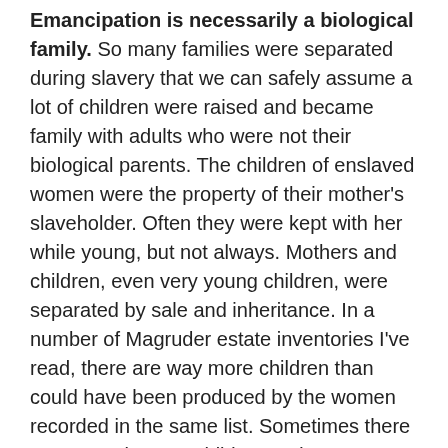Emancipation is necessarily a biological family. So many families were separated during slavery that we can safely assume a lot of children were raised and became family with adults who were not their biological parents. The children of enslaved women were the property of their mother's slaveholder. Often they were kept with her while young, but not always. Mothers and children, even very young children, were separated by sale and inheritance. In a number of Magruder estate inventories I've read, there are way more children than could have been produced by the women recorded in the same list. Sometimes there are several young children and no woman of child-bearing age at all. Women too old for manual labor were often assigned to child care, while the mothers worked.
In light of this, consider what is most important for you personally to discover. Do you want to know who